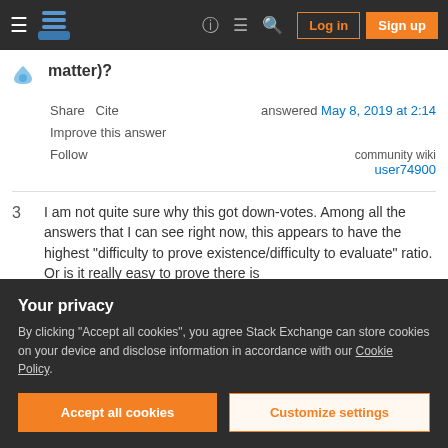Stack Exchange navigation bar with Log in and Sign up buttons
matter)?
Share   Cite
Improve this answer
Follow
answered May 8, 2019 at 2:14
community wiki
user74900
3   I am not quite sure why this got down-votes. Among all the answers that I can see right now, this appears to have the highest "difficulty to prove existence/difficulty to evaluate" ratio. Or is it really easy to prove there is
Your privacy
By clicking "Accept all cookies", you agree Stack Exchange can store cookies on your device and disclose information in accordance with our Cookie Policy.
Accept all cookies   Customize settings